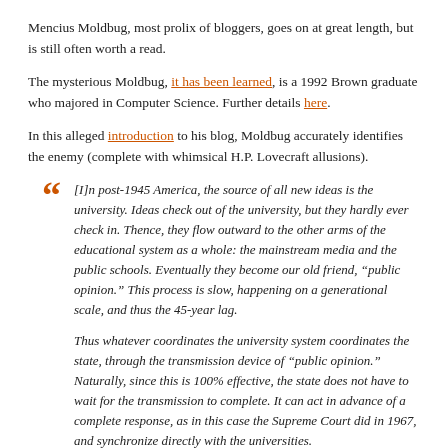Mencius Moldbug, most prolix of bloggers, goes on at great length, but is still often worth a read.
The mysterious Moldbug, it has been learned, is a 1992 Brown graduate who majored in Computer Science. Further details here.
In this alleged introduction to his blog, Moldbug accurately identifies the enemy (complete with whimsical H.P. Lovecraft allusions).
[I]n post-1945 America, the source of all new ideas is the university. Ideas check out of the university, but they hardly ever check in. Thence, they flow outward to the other arms of the educational system as a whole: the mainstream media and the public schools. Eventually they become our old friend, “public opinion.” This process is slow, happening on a generational scale, and thus the 45-year lag.

Thus whatever coordinates the university system coordinates the state, through the transmission device of “public opinion.” Naturally, since this is 100% effective, the state does not have to wait for the transmission to complete. It can act in advance of a complete response, as in this case the Supreme Court did in 1967, and synchronize directly with the universities.